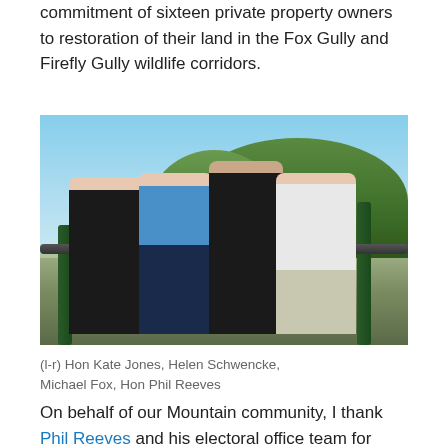commitment of sixteen private property owners to restoration of their land in the Fox Gully and Firefly Gully wildlife corridors.
[Figure (photo): Four people standing behind a metal railing outdoors with trees and blue sky in the background. From left to right: a woman in a black dress, a woman in a blue patterned top, a man in a black polo shirt, and a man in a light business shirt.]
(l-r) Hon Kate Jones, Helen Schwencke, Michael Fox, Hon Phil Reeves
On behalf of our Mountain community, I thank Phil Reeves and his electoral office team for their ongoing support and